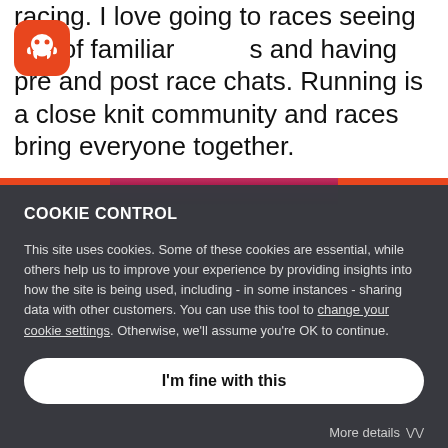racing. I love going to races seeing lots of familiar faces and having pre and post race chats. Running is a close knit community and races bring everyone together.
[Figure (screenshot): Screenshot of a website with a cookie control overlay dialog on a dark semi-transparent background. The top portion shows white page content with an orange octopus logo icon. Below is the cookie consent dialog.]
COOKIE CONTROL
This site uses cookies. Some of these cookies are essential, while others help us to improve your experience by providing insights into how the site is being used, including - in some instances - sharing data with other customers. You can use this tool to change your cookie settings. Otherwise, we'll assume you're OK to continue.
I'm fine with this
More details